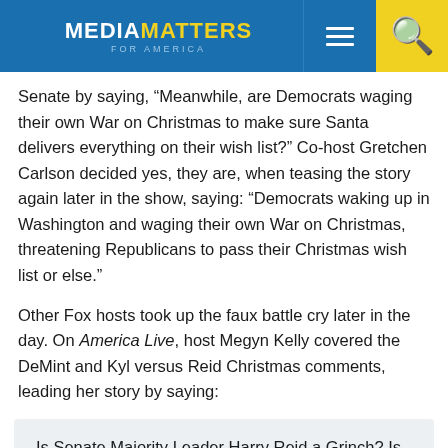MEDIA MATTERS FOR AMERICA
Senate by saying, “Meanwhile, are Democrats waging their own War on Christmas to make sure Santa delivers everything on their wish list?” Co-host Gretchen Carlson decided yes, they are, when teasing the story again later in the show, saying: “Democrats waking up in Washington and waging their own War on Christmas, threatening Republicans to pass their Christmas wish list or else.”
Other Fox hosts took up the faux battle cry later in the day. On America Live, host Megyn Kelly covered the DeMint and Kyl versus Reid Christmas comments, leading her story by saying:
Is Senate Majority Leader Harry Reid a Grinch? Is he trying to Scrooge his colleagues with plans to keep the Senate in session until Christmas Eve and then…